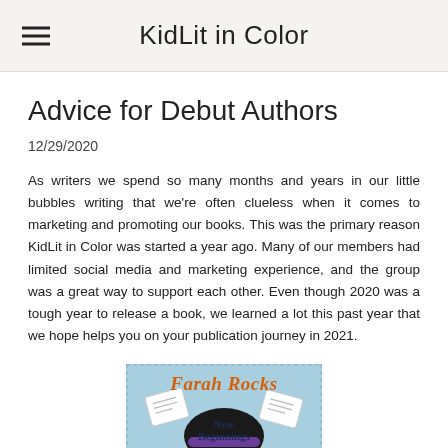KidLit in Color
Advice for Debut Authors
12/29/2020
As writers we spend so many months and years in our little bubbles writing that we're often clueless when it comes to marketing and promoting our books. This was the primary reason KidLit in Color was started a year ago. Many of our members had limited social media and marketing experience, and the group was a great way to support each other. Even though 2020 was a tough year to release a book, we learned a lot this past year that we hope helps you on your publication journey in 2021.
[Figure (illustration): Book cover for 'Farah Rocks New Beginnings' showing a cartoon girl with dark hair and a purple headband, surrounded by floating paper/letters on a blue background. Text reads 'Farah Rocks' in orange and 'New Beginnings' in dark blue.]